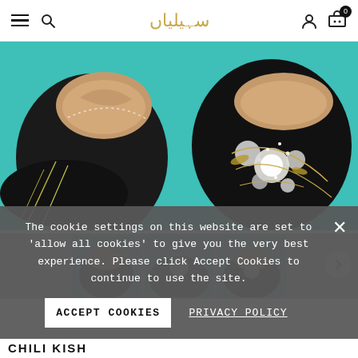Navigation bar with hamburger menu, search icon, Arabic brand logo (سہیلیاں), user icon, and cart icon with badge 0
[Figure (photo): Two black khussa shoes with embroidery on a teal/turquoise fabric background. Left shoe shows beige interior with pearl stitching, right shoe has gold and white floral embroidery on black velvet.]
[Figure (photo): Three thumbnail images of shoes in a row with grey overlay, partially visible]
The cookie settings on this website are set to 'allow all cookies' to give you the very best experience. Please click Accept Cookies to continue to use the site.
ACCEPT COOKIES
PRIVACY POLICY
CHILI KISH